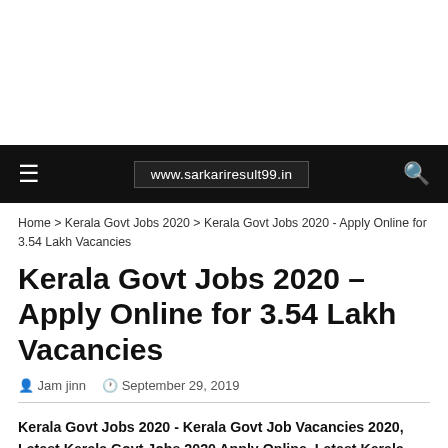[Figure (other): Advertisement / blank white area at top of page]
www.sarkariresult99.in
Home > Kerala Govt Jobs 2020 > Kerala Govt Jobs 2020 - Apply Online for 3.54 Lakh Vacancies
Kerala Govt Jobs 2020 – Apply Online for 3.54 Lakh Vacancies
Jam jinn  September 29, 2019
Kerala Govt Jobs 2020 - Kerala Govt Job Vacancies 2020, Latest Kerala Govt Jobs 2020 Apply Online, Latest Kerala Govt Recruitment 2020...